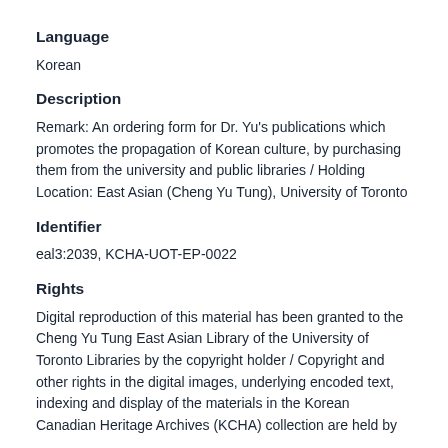Language
Korean
Description
Remark: An ordering form for Dr. Yu's publications which promotes the propagation of Korean culture, by purchasing them from the university and public libraries / Holding Location: East Asian (Cheng Yu Tung), University of Toronto
Identifier
eal3:2039, KCHA-UOT-EP-0022
Rights
Digital reproduction of this material has been granted to the Cheng Yu Tung East Asian Library of the University of Toronto Libraries by the copyright holder / Copyright and other rights in the digital images, underlying encoded text, indexing and display of the materials in the Korean Canadian Heritage Archives (KCHA) collection are held by